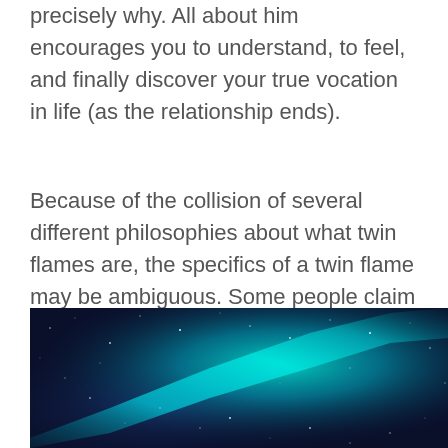precisely why. All about him encourages you to understand, to feel, and finally discover your true vocation in life (as the relationship ends).
Because of the collision of several different philosophies about what twin flames are, the specifics of a twin flame may be ambiguous. Some people claim that our soulmate is a guide, a friend, or a family member who only comes into our lives for a short time. The soulmate trains us for the meeting with our twin flame, who is eternally linked to us.
[Figure (photo): A photo of a galaxy or nebula with teal/cyan and dark blue cosmic colors, showing stars and a bright streak of light across the image.]